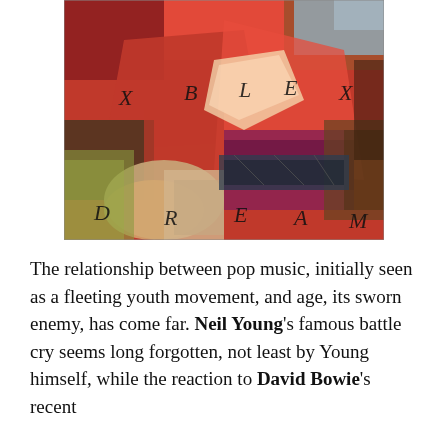[Figure (illustration): Album artwork collage with red tones and text spelling out 'REBEL DREAM' overlaid on a mixed-media collage of photographic and painted elements]
The relationship between pop music, initially seen as a fleeting youth movement, and age, its sworn enemy, has come far. Neil Young's famous battle cry seems long forgotten, not least by Young himself, while the reaction to David Bowie's recent